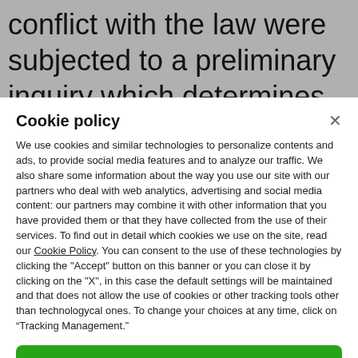conflict with the law were subjected to a preliminary inquiry which determines whether the
Cookie policy
We use cookies and similar technologies to personalize contents and ads, to provide social media features and to analyze our traffic. We also share some information about the way you use our site with our partners who deal with web analytics, advertising and social media content: our partners may combine it with other information that you have provided them or that they have collected from the use of their services. To find out in detail which cookies we use on the site, read our Cookie Policy. You can consent to the use of these technologies by clicking the "Accept" button on this banner or you can close it by clicking on the "X", in this case the default settings will be maintained and that does not allow the use of cookies or other tracking tools other than technologycal ones. To change your choices at any time, click on “Tracking Management.”
ACCEPT
TRACKERS MANAGEMENT
Show vendors | Show purposes